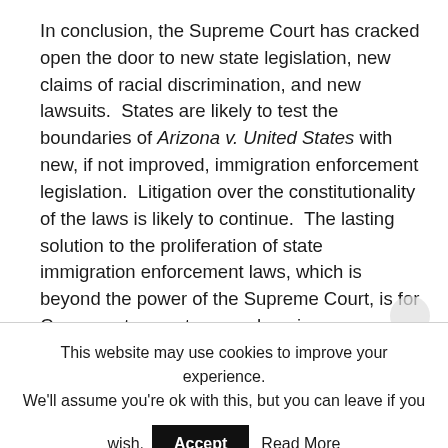In conclusion, the Supreme Court has cracked open the door to new state legislation, new claims of racial discrimination, and new lawsuits.  States are likely to test the boundaries of Arizona v. United States with new, if not improved, immigration enforcement legislation.  Litigation over the constitutionality of the laws is likely to continue.  The lasting solution to the proliferation of state immigration enforcement laws, which is beyond the power of the Supreme Court, is for Congress to enact comprehensive immigration reform that has the support of the public.  Perhaps the publicity over Arizona v. United States will prod Congress to act.  Until it does, we can expect the status quo to continue.
This website may use cookies to improve your experience. We'll assume you're ok with this, but you can leave if you wish.  Accept  Read More